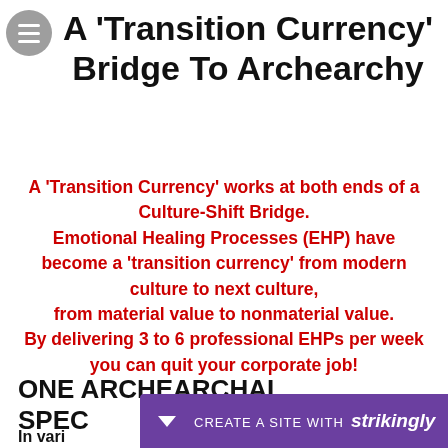A 'Transition Currency' Bridge To Archearchy
A 'Transition Currency' works at both ends of a Culture-Shift Bridge. Emotional Healing Processes (EHP) have become a 'transition currency' from modern culture to next culture, from material value to nonmaterial value. By delivering 3 to 6 professional EHPs per week you can quit your corporate job!
ONE ARCHEARCHAL SPEC
In vari... hops,
[Figure (other): Strikingly website builder promotional bar at bottom of page with purple background, down arrow, text 'CREATE A SITE WITH strikingly']